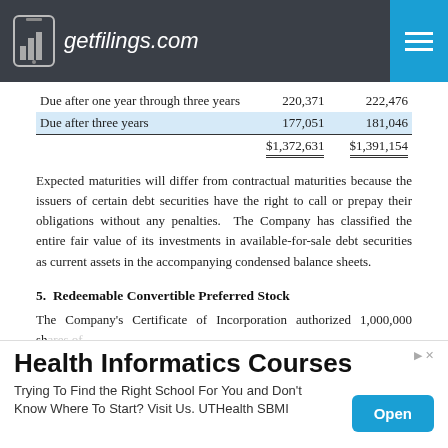getfilings.com
|  | Col1 | Col2 |
| --- | --- | --- |
| Due after one year through three years | 220,371 | 222,476 |
| Due after three years | 177,051 | 181,046 |
|  | $1,372,631 | $1,391,154 |
Expected maturities will differ from contractual maturities because the issuers of certain debt securities have the right to call or prepay their obligations without any penalties. The Company has classified the entire fair value of its investments in available-for-sale debt securities as current assets in the accompanying condensed balance sheets.
5.  Redeemable Convertible Preferred Stock
The Company's Certificate of Incorporation authorized 1,000,000 shares of designated, serial preferred stock. Preferred stock may be issued from time to time in one or more series. The Board of Directors is authorized to